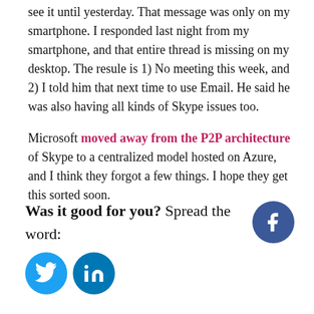see it until yesterday. That message was only on my smartphone. I responded last night from my smartphone, and that entire thread is missing on my desktop. The resule is 1) No meeting this week, and 2) I told him that next time to use Email. He said he was also having all kinds of Skype issues too.
Microsoft moved away from the P2P architecture of Skype to a centralized model hosted on Azure, and I think they forgot a few things. I hope they get this sorted soon.
Was it good for you? Spread the word: